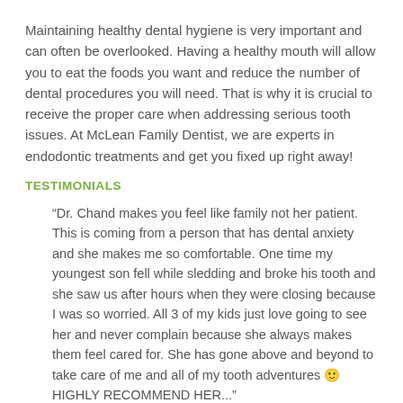Maintaining healthy dental hygiene is very important and can often be overlooked. Having a healthy mouth will allow you to eat the foods you want and reduce the number of dental procedures you will need. That is why it is crucial to receive the proper care when addressing serious tooth issues. At McLean Family Dentist, we are experts in endodontic treatments and get you fixed up right away!
TESTIMONIALS
“Dr. Chand makes you feel like family not her patient. This is coming from a person that has dental anxiety and she makes me so comfortable. One time my youngest son fell while sledding and broke his tooth and she saw us after hours when they were closing because I was so worried. All 3 of my kids just love going to see her and never complain because she always makes them feel cared for. She has gone above and beyond to take care of me and all of my tooth adventures 🙂 HIGHLY RECOMMEND HER...”
Read more